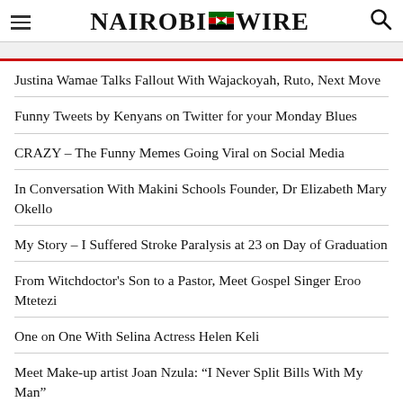Nairobi Wire
Justina Wamae Talks Fallout With Wajackoyah, Ruto, Next Move
Funny Tweets by Kenyans on Twitter for your Monday Blues
CRAZY – The Funny Memes Going Viral on Social Media
In Conversation With Makini Schools Founder, Dr Elizabeth Mary Okello
My Story – I Suffered Stroke Paralysis at 23 on Day of Graduation
From Witchdoctor's Son to a Pastor, Meet Gospel Singer Eroo Mtetezi
One on One With Selina Actress Helen Keli
Meet Make-up artist Joan Nzula: “I Never Split Bills With My Man”
Tips to Secure More Wins in Online Casino
Pro Tips to Help You Play Slots for Real Money Online